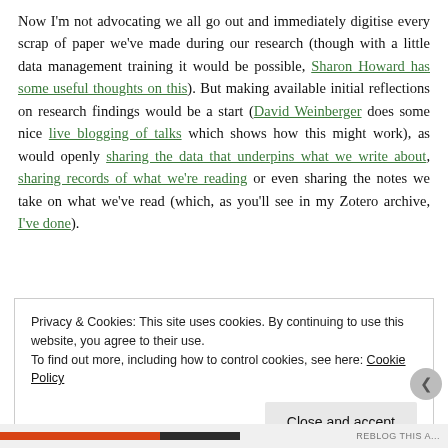Now I'm not advocating we all go out and immediately digitise every scrap of paper we've made during our research (though with a little data management training it would be possible, Sharon Howard has some useful thoughts on this). But making available initial reflections on research findings would be a start (David Weinberger does some nice live blogging of talks which shows how this might work), as would openly sharing the data that underpins what we write about, sharing records of what we're reading or even sharing the notes we take on what we've read (which, as you'll see in my Zotero archive, I've done).
Privacy & Cookies: This site uses cookies. By continuing to use this website, you agree to their use. To find out more, including how to control cookies, see here: Cookie Policy
Close and accept